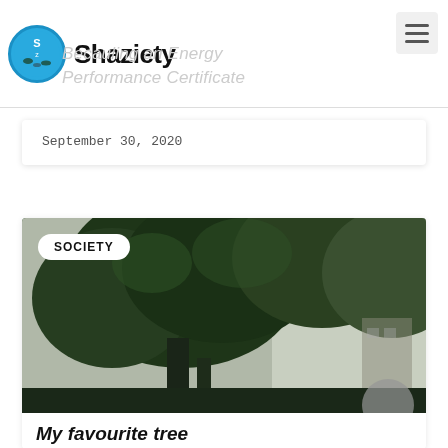Shaziety — Becauling an Energy Performance Certificate
September 30, 2020
[Figure (photo): Photograph of large trees with dense green foliage against a pale sky, with a building visible in background. A white pill-shaped badge with the text 'SOCIETY' overlays the top-left of the image.]
My favourite tree